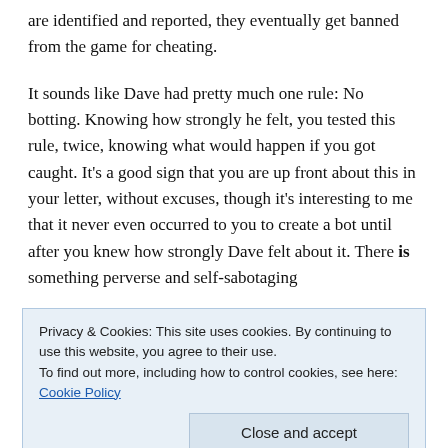are identified and reported, they eventually get banned from the game for cheating.
It sounds like Dave had pretty much one rule: No botting. Knowing how strongly he felt, you tested this rule, twice, knowing what would happen if you got caught. It’s a good sign that you are up front about this in your letter, without excuses, though it's interesting to me that it never even occurred to you to create a bot until after you knew how strongly Dave felt about it. There is something perverse and self-sabotaging
Privacy & Cookies: This site uses cookies. By continuing to use this website, you agree to their use.
To find out more, including how to control cookies, see here: Cookie Policy
Close and accept
which I am agnostic at best. Botting breaks the